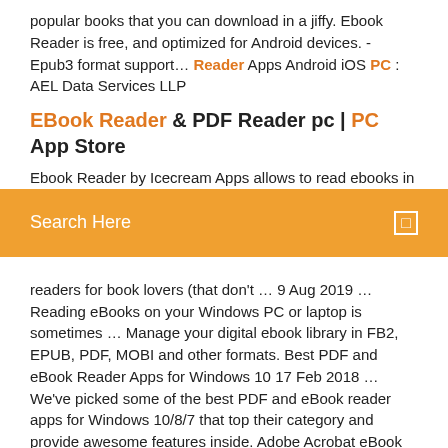popular books that you can download in a jiffy. Ebook Reader is free, and optimized for Android devices. - Epub3 format support… Reader Apps Android iOS PC : AEL Data Services LLP
EBook Reader & PDF Reader pc | PC App Store
Ebook Reader by Icecream Apps allows to read ebooks in
[Figure (other): Orange search bar with text 'Search Here' and a search icon on the right]
readers for book lovers (that don't … 9 Aug 2019 … Reading eBooks on your Windows PC or laptop is sometimes … Manage your digital ebook library in FB2, EPUB, PDF, MOBI and other formats. Best PDF and eBook Reader Apps for Windows 10 17 Feb 2018 … We've picked some of the best PDF and eBook reader apps for Windows 10/8/7 that top their category and provide awesome features inside. Adobe Acrobat eBook Reader - Download
Need for speed 2019 télécharger apk